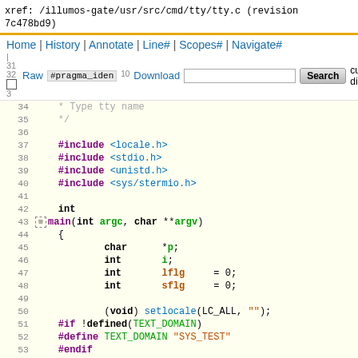xref: /illumos-gate/usr/src/cmd/tty/tty.c (revision 7c478bd9)
Home | History | Annotate | Line# | Scopes# | Navigate#
| Raw | Download | [search box] | Search | current directory
34     * Type tty name
35     */
36
37     #include <locale.h>
38     #include <stdio.h>
39     #include <unistd.h>
40     #include <sys/stermio.h>
41
42     int
43 [+] main(int argc, char **argv)
44     {
45             char      *p;
46             int       i;
47             int       lflg     = 0;
48             int       sflg     = 0;
49
50             (void) setlocale(LC_ALL, "");
51     #if !defined(TEXT_DOMAIN)
52     #define TEXT_DOMAIN "SYS_TEST"
53     #endif
54             (void) textdomain(TEXT_DOMAIN);
55             while ((i = getopt(argc, argv, "ls")) != E